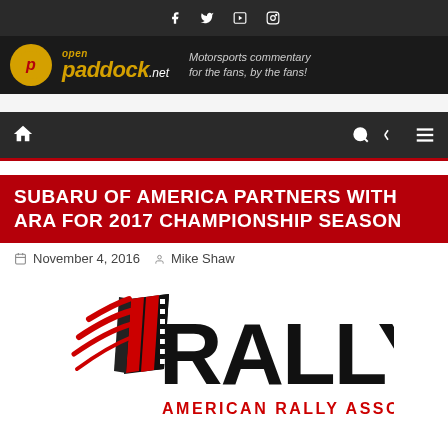Social icons: Facebook, Twitter, YouTube, Instagram
[Figure (logo): OpenPaddock.net logo banner — dark background, yellow/gold 'open paddock.net' logo with 'Motorsports commentary for the fans, by the fans!' tagline]
Navigation bar with home icon, search icon, shuffle icon, menu icon
SUBARU OF AMERICA PARTNERS WITH ARA FOR 2017 CHAMPIONSHIP SEASON
November 4, 2016   Mike Shaw
[Figure (logo): American Rally Association (ARA) logo — large black RALLY text with red/black checkered flag graphic and red 'AMERICAN RALLY ASSOCIATION' text below]